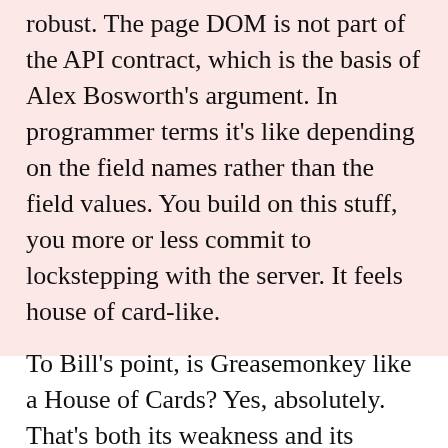robust. The page DOM is not part of the API contract, which is the basis of Alex Bosworth's argument. In programmer terms it's like depending on the field names rather than the field values. You build on this stuff, you more or less commit to lockstepping with the server. It feels house of card-like.
To Bill's point, is Greasemonkey like a House of Cards? Yes, absolutely. That's both its weakness and its strength. Because as quickly as the scripts in the Gmail example broke, they were updated and functional in most cases same day. A House of Cards, after all, is easily knocked over, but just as easy to put back together. Likewise, Greasemonkey scripts are easily updated, even without the help of fancy